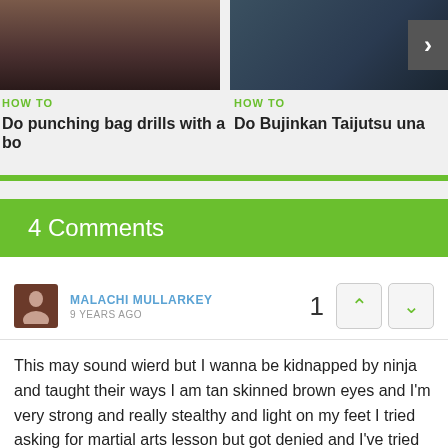[Figure (photo): Partial view of a person in floral dress, dark background]
HOW TO
Do punching bag drills with a bo
[Figure (photo): Dark background with luggage and person, right arrow navigation button]
HOW TO
Do Bujinkan Taijutsu una
4 Comments
MALACHI MULLARKEY
9 YEARS AGO
This may sound wierd but I wanna be kidnapped by ninja and taught their ways I am tan skinned brown eyes and I'm very strong and really stealthy and light on my feet I tried asking for martial arts lesson but got denied and I've tried teaching myself buts isn't get far I can amazingly 7.4ft and I just really want to be ninja so in order to get to me you must email me at